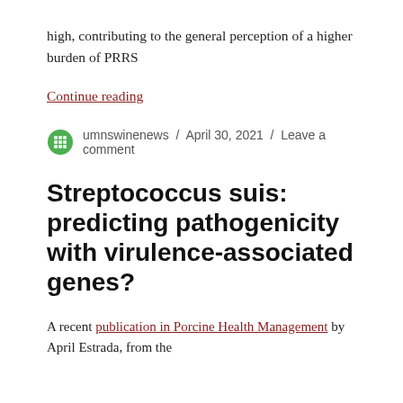high, contributing to the general perception of a higher burden of PRRS
Continue reading
umnswinenews / April 30, 2021 / Leave a comment
Streptococcus suis: predicting pathogenicity with virulence-associated genes?
A recent publication in Porcine Health Management by April Estrada, from the